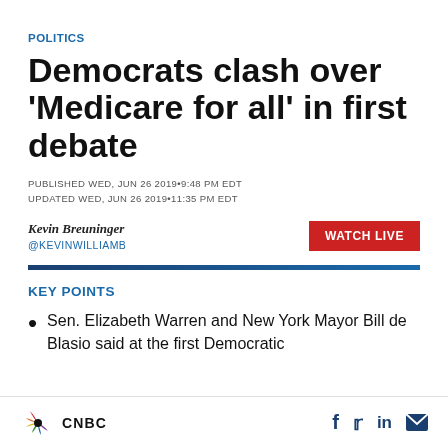POLITICS
Democrats clash over 'Medicare for all' in first debate
PUBLISHED WED, JUN 26 2019•9:48 PM EDT
UPDATED WED, JUN 26 2019•11:35 PM EDT
Kevin Breuninger
@KEVINWILLIAMB
WATCH LIVE
KEY POINTS
Sen. Elizabeth Warren and New York Mayor Bill de Blasio said at the first Democratic
CNBC  f  in